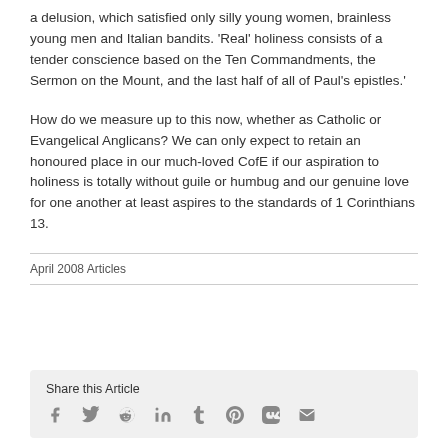a delusion, which satisfied only silly young women, brainless young men and Italian bandits. 'Real' holiness consists of a tender conscience based on the Ten Commandments, the Sermon on the Mount, and the last half of all of Paul's epistles.'
How do we measure up to this now, whether as Catholic or Evangelical Anglicans? We can only expect to retain an honoured place in our much-loved CofE if our aspiration to holiness is totally without guile or humbug and our genuine love for one another at least aspires to the standards of 1 Corinthians 13.
April 2008 Articles
Share this Article